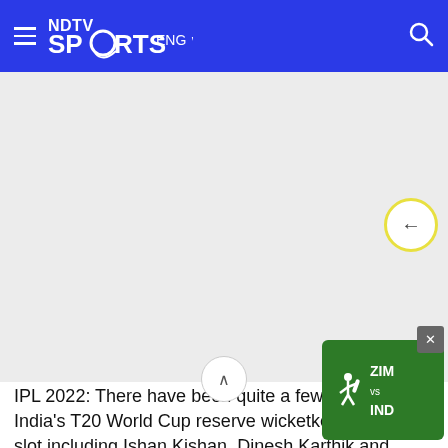NDTV Sports ENG
[Figure (screenshot): Gray empty content area placeholder for an image or ad]
[Figure (infographic): Cricket live score widget showing ZIM vs IND match with green background and cricket player icon]
IPL 2022: There have been quite a few f... Team India's T20 World Cup reserve wicketkeeper-batters' slot including Ishan Kishan, Dinesh Karthik and Sanju Samson but Virender Sehwag recently lik... Sh...